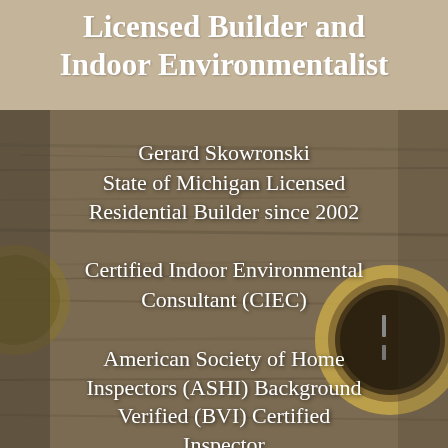Licensed Builder and Indoor Environmentalist
[Figure (photo): Background photo of weathered wooden planks with a vintage compass/gauge visible on the right side, brownish-tan color tone. Upper portion has a solid tan/khaki overlay.]
Gerard Skowronski
State of Michigan Licensed Residential Builder since 2002
Certified Indoor Environmental Consultant (CIEC)
American Society of Home Inspectors (ASHI) Background Verified (BVI) Certified Inspector
Radon Testing
Indoor Air Quality Testing